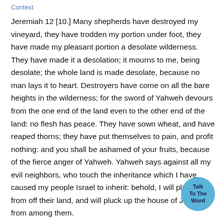Context
Jeremiah 12 [10.] Many shepherds have destroyed my vineyard, they have trodden my portion under foot, they have made my pleasant portion a desolate wilderness. They have made it a desolation; it mourns to me, being desolate; the whole land is made desolate, because no man lays it to heart. Destroyers have come on all the bare heights in the wilderness; for the sword of Yahweh devours from the one end of the land even to the other end of the land: no flesh has peace. They have sown wheat, and have reaped thorns; they have put themselves to pain, and profit nothing: and you shall be ashamed of your fruits, because of the fierce anger of Yahweh. Yahweh says against all my evil neighbors, who touch the inheritance which I have caused my people Israel to inherit: behold, I will pluck them from off their land, and will pluck up the house of Judah from among them.